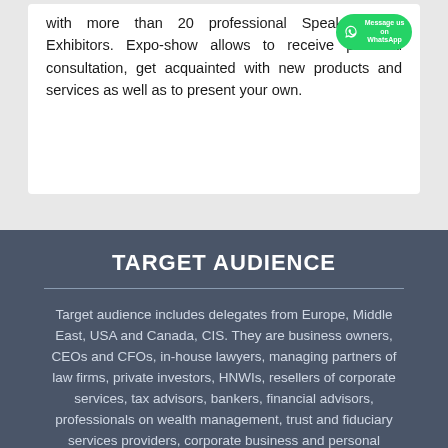with more than 20 professional Speakers and Exhibitors. Expo-show allows to receive personal consultation, get acquainted with new products and services as well as to present your own.
[Figure (other): WhatsApp 'Message us on WhatsApp' green badge/button overlay]
TARGET AUDIENCE
Target audience includes delegates from Europe, Middle East, USA and Canada, CIS. They are business owners, CEOs and CFOs, in-house lawyers, managing partners of law firms, private investors, HNWIs, resellers of corporate services, tax advisors, bankers, financial advisors, professionals on wealth management, trust and fiduciary services providers, corporate business and personal insurance, Forex Conference, crypto-exchange, fund administration.